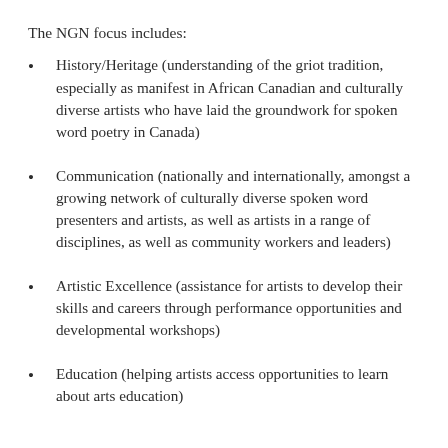The NGN focus includes:
History/Heritage (understanding of the griot tradition, especially as manifest in African Canadian and culturally diverse artists who have laid the groundwork for spoken word poetry in Canada)
Communication (nationally and internationally, amongst a growing network of culturally diverse spoken word presenters and artists, as well as artists in a range of disciplines, as well as community workers and leaders)
Artistic Excellence (assistance for artists to develop their skills and careers through performance opportunities and developmental workshops)
Education (helping artists access opportunities to learn about arts education)